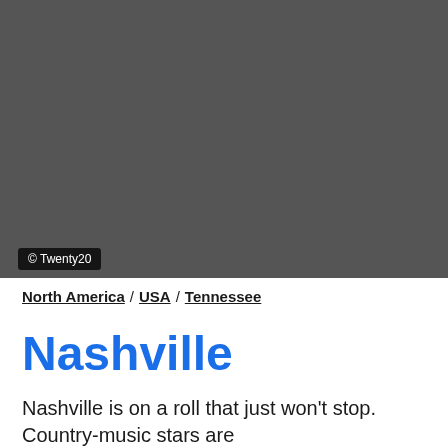lonely planet  Subscribe
[Figure (photo): Hero image area - dark gray placeholder background representing a Nashville photo. Copyright credit: © Twenty20]
© Twenty20
North America / USA / Tennessee
Nashville
Nashville is on a roll that just won't stop. Country-music stars are